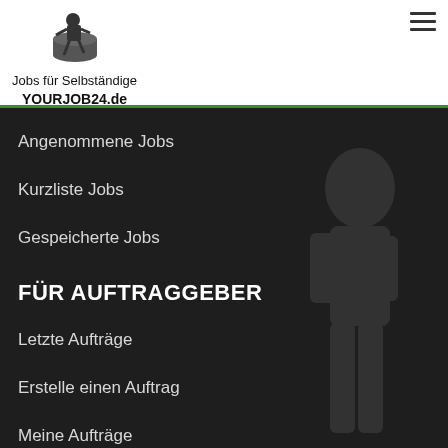[Figure (logo): Yourjob24.de logo with a figure/person silhouette icon above text]
Jobs für Selbständige
YOURJOB24.de
Angenommene Jobs
Kurzliste Jobs
Gespeicherte Jobs
FÜR AUFTRAGGEBER
Letzte Aufträge
Erstelle einen Auftrag
Meine Aufträge
Meine durchgeführten Aufträge